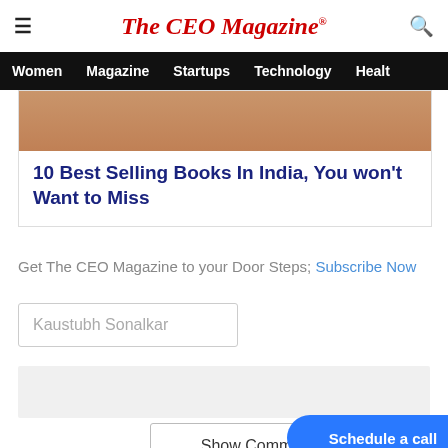The CEO Magazine
Women  Magazine  Startups  Technology  Healt
[Figure (photo): Partial image of books or a person, cropped at top]
10 Best Selling Books In India, You won't Want to Miss
Get The CEO Magazine to your Door Steps; Subscribe Now
Kaustubh Sonalkar
Show Comments
Schedule a call